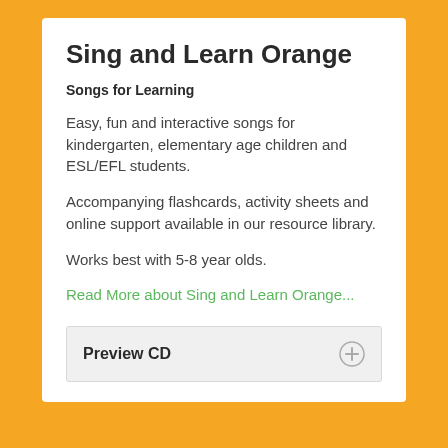Sing and Learn Orange
Songs for Learning
Easy, fun and interactive songs for kindergarten, elementary age children and ESL/EFL students.
Accompanying flashcards, activity sheets and online support available in our resource library.
Works best with 5-8 year olds.
Read More about Sing and Learn Orange...
Preview CD